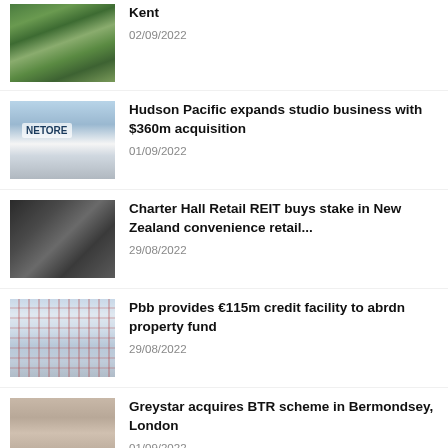[Figure (photo): Aerial view of farmland fields in Kent]
Kent
02/09/2022
[Figure (photo): Building exterior with signage, Hudson Pacific studio acquisition]
Hudson Pacific expands studio business with $360m acquisition
01/09/2022
[Figure (photo): Business meeting handshake, Charter Hall Retail REIT deal]
Charter Hall Retail REIT buys stake in New Zealand convenience retail...
29/08/2022
[Figure (photo): Building with scaffolding, Pbb credit facility to abrdn property fund]
Pbb provides €115m credit facility to abrdn property fund
29/08/2022
[Figure (photo): Residential tower building in Bermondsey London, Greystar BTR scheme]
Greystar acquires BTR scheme in Bermondsey, London
01/09/2022